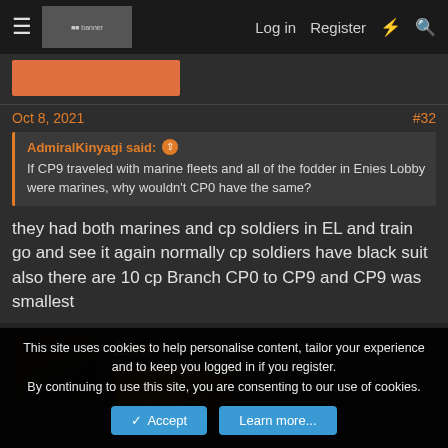≡  [banner image]  Log in  Register  ⚡  🔍
[Figure (photo): Orange/salmon colored avatar or banner placeholder below nav]
Oct 8, 2021   #32
AdmiralKinyagi said: ↑ If CP9 traveled with marine fleets and all of the fodder in Enies Lobby were marines, why wouldn't CP0 have the same?
they had both marines and cp soldiers in EL and train go and see it again normally cp soldiers have black suit also there are 10 cp Branch CP0 to CP9 and CP9 was smallest
[Figure (photo): User avatar thumbnail of a dark-toned character, and a game-art image preview next to username Zara]
Zara
This site uses cookies to help personalise content, tailor your experience and to keep you logged in if you register.
By continuing to use this site, you are consenting to our use of cookies.
Accept   Learn more...